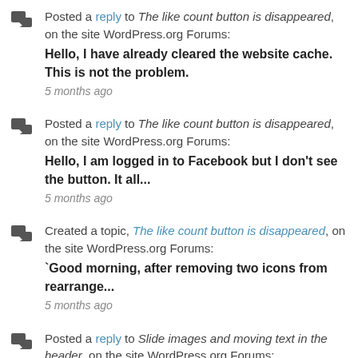Posted a reply to The like count button is disappeared, on the site WordPress.org Forums: Hello, I have already cleared the website cache. This is not the problem. 5 months ago
Posted a reply to The like count button is disappeared, on the site WordPress.org Forums: Hello, I am logged in to Facebook but I don't see the button. It all... 5 months ago
Created a topic, The like count button is disappeared, on the site WordPress.org Forums: `Good morning, after removing two icons from rearrange... 5 months ago
Posted a reply to Slide images and moving text in the header, on the site WordPress.org Forums: Grazie! 5 months ago
Created a topic, Slide images and moving text in the header